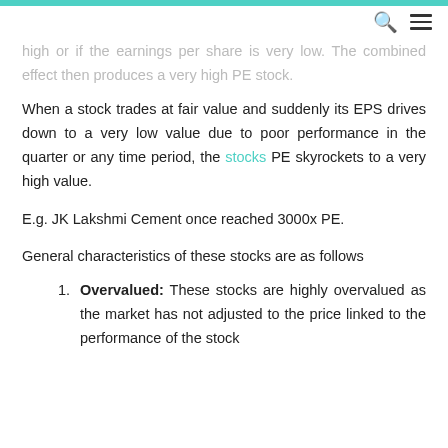high or if the earnings per share is very low. The combined effect then produces a very high PE stock.
When a stock trades at fair value and suddenly its EPS drives down to a very low value due to poor performance in the quarter or any time period, the stocks PE skyrockets to a very high value.
E.g. JK Lakshmi Cement once reached 3000x PE.
General characteristics of these stocks are as follows
Overvalued: These stocks are highly overvalued as the market has not adjusted to the price linked to the performance of the stock